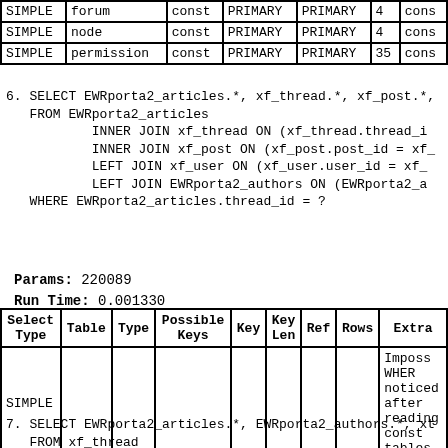| Select Type | Table | Type | Possible Keys | Key | Key Len | Ref | Rows | Extra |
| --- | --- | --- | --- | --- | --- | --- | --- | --- |
| SIMPLE | forum | const | PRIMARY | PRIMARY | 4 |  | cons |
| SIMPLE | node | const | PRIMARY | PRIMARY | 4 |  | cons |
| SIMPLE | permission | const | PRIMARY | PRIMARY | 35 |  | cons |
6. SELECT EWRporta2_articles.*, xf_thread.*, xf_post.*,
   FROM EWRporta2_articles
           INNER JOIN xf_thread ON (xf_thread.thread_i...
           INNER JOIN xf_post ON (xf_post.post_id = xf_...
           LEFT JOIN xf_user ON (xf_user.user_id = xf_...
           LEFT JOIN EWRporta2_authors ON (EWRporta2_a...
   WHERE EWRporta2_articles.thread_id = ?
Params: 220089
Run Time: 0.001330
| Select Type | Table | Type | Possible Keys | Key | Key Len | Ref | Rows | Extra |
| --- | --- | --- | --- | --- | --- | --- | --- | --- |
| SIMPLE |  |  |  |  |  |  |  | Impossib WHERE
noticed
after
reading
const
tables |
7. SELECT EWRporta2_articles.*, EWRporta2_authors.*, xt...
   FROM xf_thread